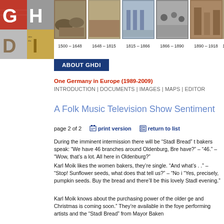[Figure (logo): GHDI logo with red/white G H / D I letters on grey manuscript background]
[Figure (infographic): Historical timeline strip with period images and date labels: 1500–1648, 1648–1815, 1815–1866, 1866–1890, 1890–1918, and partially visible next period]
ABOUT GHDI
One Germany in Europe (1989-2009)
INTRODUCTION | DOCUMENTS | IMAGES | MAPS | EDITOR
A Folk Music Television Show Sentiment
page 2 of 2    print version    return to list
During the imminent intermission there will be “Stadl Bread” bakers speak: “We have 46 branches around Oldenburg, Bre have?” – “46.” – “Wow, that’s a lot. All here in Oldenburg?”
Karl Moik likes the women bakers, they’re single. “And what’s . .” – “Stop! Sunflower seeds, what does that tell us?” – “No i “Yes, precisely, pumpkin seeds. Buy the bread and there’ll be this lovely Stadl evening.”
Karl Moik knows about the purchasing power of the older ge and Christmas is coming soon.” They’re available in the foye performing artists and the “Stadl Bread” from Mayor Baken